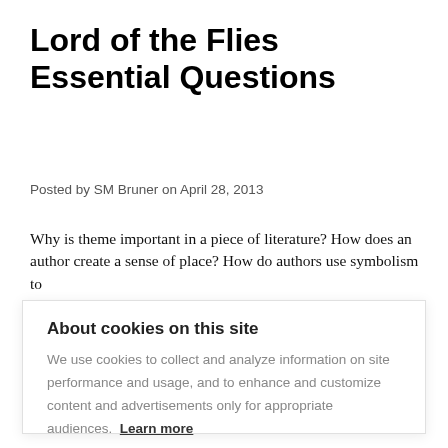Lord of the Flies Essential Questions
Posted by SM Bruner on April 28, 2013
Why is theme important in a piece of literature? How does an author create a sense of place? How do authors use symbolism to
About cookies on this site
We use cookies to collect and analyze information on site performance and usage, and to enhance and customize content and advertisements only for appropriate audiences. Learn more
Cookie settings
ALLOW ALL COOKIES